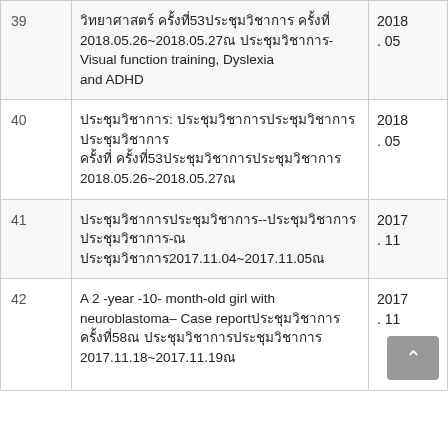| # | Content | Date |
| --- | --- | --- |
| 39 | วิทยาศาสตร์ ครั้งที่53ประชุมวิชาการ ครั้งที่ 2018.05.26~2018.05.27ณ ประชุมวิชาการ- Visual function training, Dyslexia and ADHD | 2018. 05 |
| 40 | ประชุมวิชาการ: ประชุมวิชาการประชุมวิชาการ ครั้งที่ ครั้งที่53ประชุมวิชาการประชุมวิชาการ 2018.05.26~2018.05.27ณ | 2018. 05 |
| 41 | ประชุมวิชาการประชุมวิชาการ--ประชุมวิชาการประชุมวิชาการ-ณ ประชุมวิชาการ2017.11.04~2017.11.05ณ | 2017. 11 |
| 42 | A 2 -year -10- month-old girl with neuroblastoma– Case reportประชุมวิชาการ ครั้งที่58ณ ประชุมวิชาการประชุมวิชาการ 2017.11.18~2017.11.19ณ | 2017. 11 |